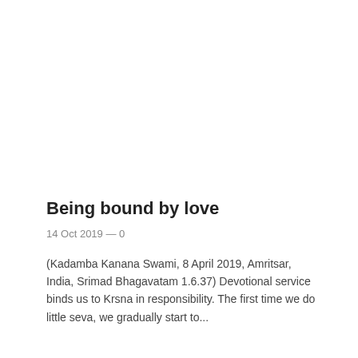Being bound by love
14 Oct 2019 — 0
(Kadamba Kanana Swami, 8 April 2019, Amritsar, India, Srimad Bhagavatam 1.6.37) Devotional service binds us to Krsna in responsibility. The first time we do little seva, we gradually start to...